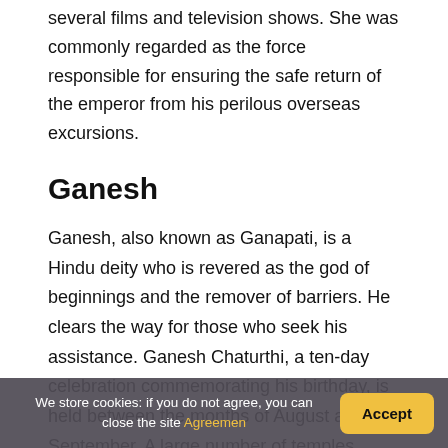several films and television shows. She was commonly regarded as the force responsible for ensuring the safe return of the emperor from his perilous overseas excursions.
Ganesh
Ganesh, also known as Ganapati, is a Hindu deity who is revered as the god of beginnings and the remover of barriers. He clears the way for those who seek his assistance. Ganesh Chaturthi, a ten-day celebration commemorating his birthday, is held between the months of August and September. A large number of temples relating to Ganesh are...
We store cookies: if you do not agree, you can close the site Agreemen